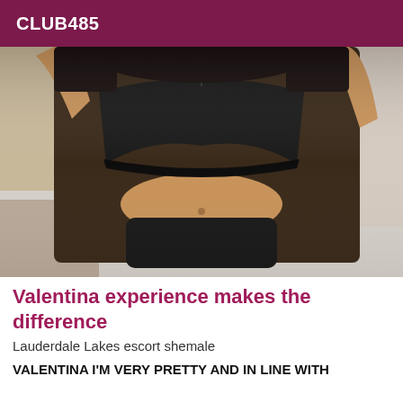CLUB485
[Figure (photo): Person wearing black lingerie, posing on a bed indoors.]
Valentina experience makes the difference
Lauderdale Lakes escort shemale
VALENTINA I'M VERY PRETTY AND IN LINE WITH